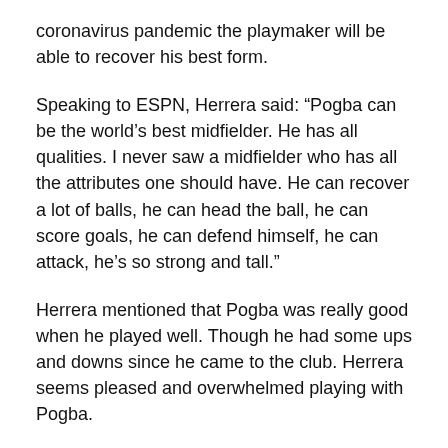coronavirus pandemic the playmaker will be able to recover his best form.
Speaking to ESPN, Herrera said: “Pogba can be the world’s best midfielder. He has all qualities. I never saw a midfielder who has all the attributes one should have. He can recover a lot of balls, he can head the ball, he can score goals, he can defend himself, he can attack, he’s so strong and tall.”
Herrera mentioned that Pogba was really good when he played well. Though he had some ups and downs since he came to the club. Herrera seems pleased and overwhelmed playing with Pogba.